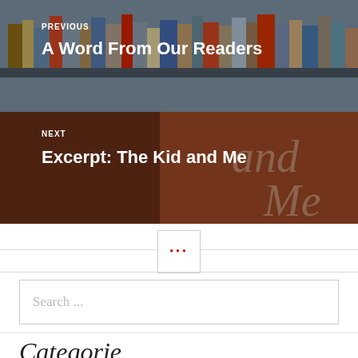[Figure (photo): Navigation block with two clickable areas. Top half shows a bookshelf with books of various colors. Bottom half shows a brown/red book cover image with stylized text 'and Me'.]
PREVIOUS
A Word From Our Readers
NEXT
Excerpt: The Kid and Me
...
Search ...
Categorie